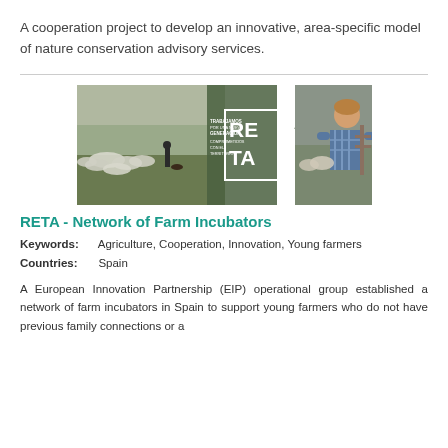A cooperation project to develop an innovative, area-specific model of nature conservation advisory services.
[Figure (photo): RETA promotional image showing a shepherd with sheep on the left and a woman farmer on the right, with the RETA logo in the center on a green background with Spanish text 'TRABAJAMOS POR UNA NUEVA GENERACION COMPROMETIDOS CON EL TERRITORIO']
RETA - Network of Farm Incubators
Keywords: Agriculture, Cooperation, Innovation, Young farmers
Countries: Spain
A European Innovation Partnership (EIP) operational group established a network of farm incubators in Spain to support young farmers who do not have previous family connections or a